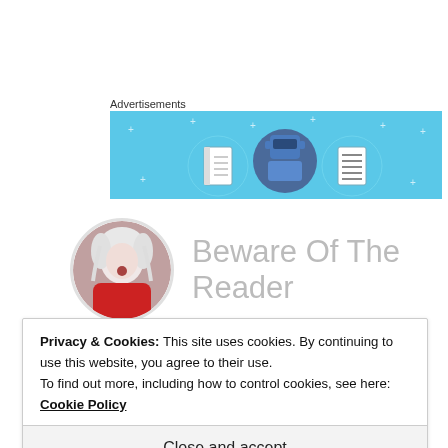Advertisements
[Figure (illustration): Advertisement banner with light blue background showing three circular icons: a notebook, a person with a hat, and a document/list, with small star decorations]
Beware Of The Reader
[Figure (illustration): Circular profile picture of an anime-style character with white hair wearing red armor/outfit]
Privacy & Cookies: This site uses cookies. By continuing to use this website, you agree to their use.
To find out more, including how to control cookies, see here: Cookie Policy
Close and accept